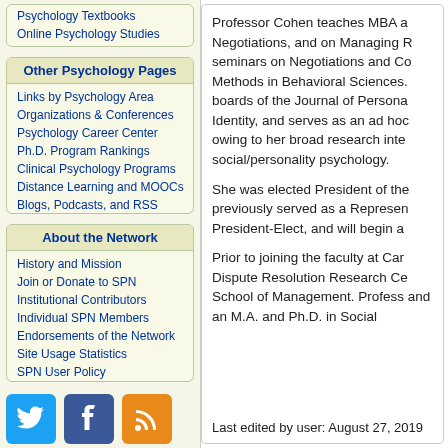Psychology Textbooks
Online Psychology Studies
Other Psychology Pages
Links by Psychology Area
Organizations & Conferences
Psychology Career Center
Ph.D. Program Rankings
Clinical Psychology Programs
Distance Learning and MOOCs
Blogs, Podcasts, and RSS
About the Network
History and Mission
Join or Donate to SPN
Institutional Contributors
Individual SPN Members
Endorsements of the Network
Site Usage Statistics
SPN User Policy
[Figure (logo): Social media icons: Twitter (blue bird), Facebook (blue f), RSS (orange feed icon)]
Professor Cohen teaches MBA a Negotiations, and on Managing R seminars on Negotiations and Co Methods in Behavioral Sciences. boards of the Journal of Persona Identity, and serves as an ad hoc owing to her broad research inte social/personality psychology.
She was elected President of the previously served as a Represen President-Elect, and will begin a
Prior to joining the faculty at Car Dispute Resolution Research Ce School of Management. Profess and an M.A. and Ph.D. in Social
Last edited by user: August 27, 2019